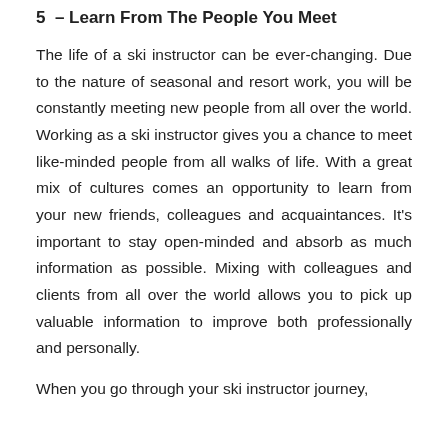5  – Learn From The People You Meet
The life of a ski instructor can be ever-changing. Due to the nature of seasonal and resort work, you will be constantly meeting new people from all over the world. Working as a ski instructor gives you a chance to meet like-minded people from all walks of life. With a great mix of cultures comes an opportunity to learn from your new friends, colleagues and acquaintances. It's important to stay open-minded and absorb as much information as possible. Mixing with colleagues and clients from all over the world allows you to pick up valuable information to improve both professionally and personally.
When you go through your ski instructor journey,